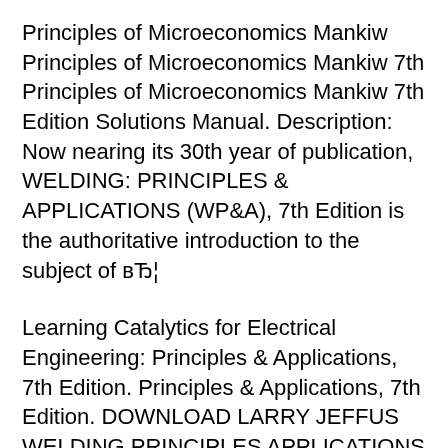Principles of Microeconomics Mankiw Principles of Microeconomics Mankiw 7th Principles of Microeconomics Mankiw 7th Edition Solutions Manual. Description: Now nearing its 30th year of publication, WELDING: PRINCIPLES & APPLICATIONS (WP&A), 7th Edition is the authoritative introduction to the subject of вЂ¦
Learning Catalytics for Electrical Engineering: Principles & Applications, 7th Edition. Principles & Applications, 7th Edition. DOWNLOAD LARRY JEFFUS WELDING PRINCIPLES APPLICATIONS 7TH EDITION ІГўв,¬в„ўm interested in welding pipe in the 6G position and learning вЂ¦